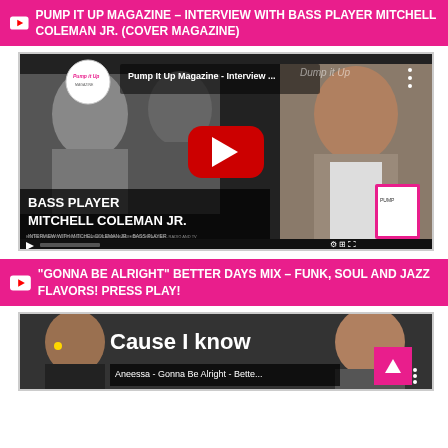PUMP IT UP MAGAZINE – INTERVIEW WITH BASS PLAYER MITCHELL COLEMAN JR. (COVER MAGAZINE)
[Figure (screenshot): YouTube video thumbnail for Pump It Up Magazine interview with Bass Player Mitchell Coleman Jr., showing a man in a suit and a woman, with YouTube play button overlay and text 'BASS PLAYER MITCHELL COLEMAN JR.']
"GONNA BE ALRIGHT" BETTER DAYS MIX – FUNK, SOUL AND JAZZ FLAVORS! PRESS PLAY!
[Figure (screenshot): YouTube video thumbnail for Aneessa - Gonna Be Alright - Bette... showing two women and text 'Cause I know']